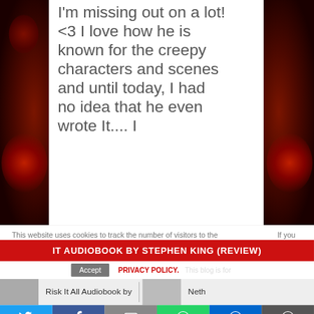I'm missing out on a lot! <3 I love how he is known for the creepy characters and scenes and until today, I had no idea that he even wrote It.... I
[Figure (illustration): Dark red horror-themed decorative background on left and right sides, with a white central content panel showing review text]
This website uses cookies to track the number of visitors to the ... If you can opt-out if you wish.
IT AUDIOBOOK BY STEPHEN KING (REVIEW)
Accept
PRIVACY POLICY. This blog is for
Risk It All Audiobook by
Neth